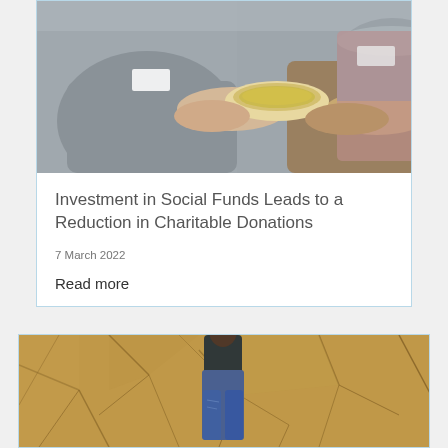[Figure (photo): Volunteers serving soup at a food bank, person handing a bowl of soup to another person, wearing aprons and name tags]
Investment in Social Funds Leads to a Reduction in Charitable Donations
7 March 2022
Read more
[Figure (photo): Person standing on cracked dry earth/drought landscape]